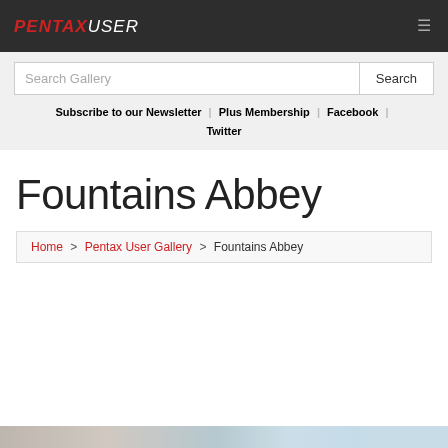PENTAXUSER
Search Gallery | Search
Subscribe to our Newsletter | Plus Membership | Facebook | Twitter
Fountains Abbey
Home > Pentax User Gallery > Fountains Abbey
[Figure (photo): Partial view of a photo strip at the bottom of the page showing a snowy or wintry landscape scene.]